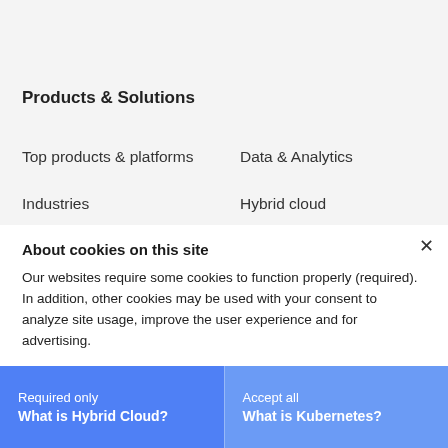Products & Solutions
Top products & platforms
Data & Analytics
Industries
Hybrid cloud
Artificial intelligence
IT infrastructure
Blockchain
Security
Business operations
Supply chain
Cloud computing
About cookies on this site
Our websites require some cookies to function properly (required). In addition, other cookies may be used with your consent to analyze site usage, improve the user experience and for advertising.
For more information, please review your Cookie preferences options and IBM's privacy statement.
Learn about
Required only
What is Hybrid Cloud?
Accept all
What is Kubernetes?